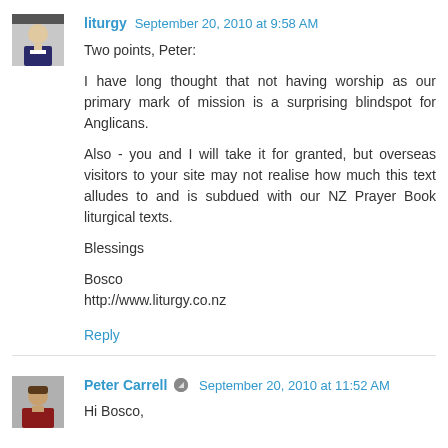liturgy  September 20, 2010 at 9:58 AM
Two points, Peter:

I have long thought that not having worship as our primary mark of mission is a surprising blindspot for Anglicans.

Also - you and I will take it for granted, but overseas visitors to your site may not realise how much this text alludes to and is subdued with our NZ Prayer Book liturgical texts.

Blessings

Bosco
http://www.liturgy.co.nz
Reply
Peter Carrell  September 20, 2010 at 11:52 AM
Hi Bosco,